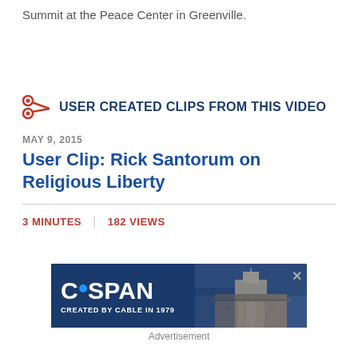Summit at the Peace Center in Greenville.
USER CREATED CLIPS FROM THIS VIDEO
MAY 9, 2015
User Clip: Rick Santorum on Religious Liberty
3 MINUTES | 182 VIEWS
[Figure (other): C-SPAN advertisement banner showing C-SPAN logo with blue dot, text CREATED BY CABLE IN 1979, and a photo of the US Capitol building on the right side with an X close button.]
Advertisement